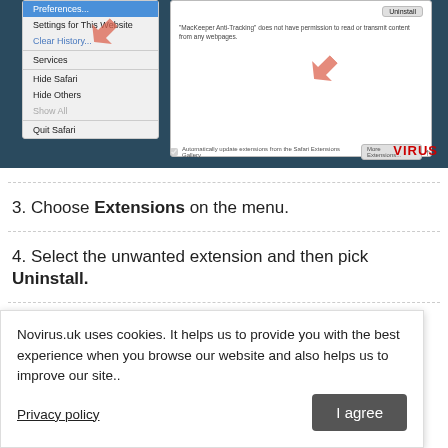[Figure (screenshot): Screenshot of Safari browser with Extensions preferences panel open, showing an unwanted extension with Uninstall button highlighted by pink arrows. A Safari menu is visible on the left with options including Preferences, Settings for This Website, Clear History, Services, Hide Safari, Hide Others, Show All, Quit Safari. A VIRUS watermark appears in the bottom right corner.]
3. Choose Extensions on the menu.
4. Select the unwanted extension and then pick Uninstall.
Clear cookies from Safari
Novirus.uk uses cookies. It helps us to provide you with the best experience when you browse our website and also helps us to improve our site..
Privacy policy
I agree